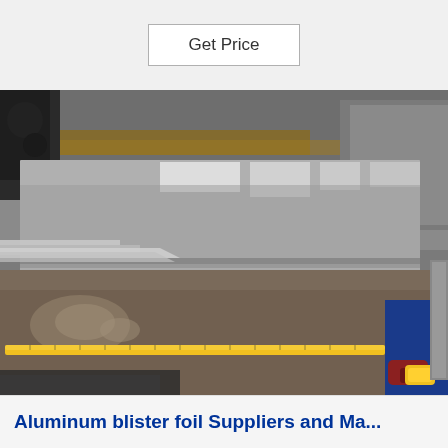Get Price
[Figure (photo): Photograph of aluminum sheets/plates stacked in an industrial warehouse setting. A yellow measuring tape is visible along the edge of the bottom sheet. A worker in blue and red gloves is partially visible on the right side.]
Aluminum blister foil Suppliers and Ma...